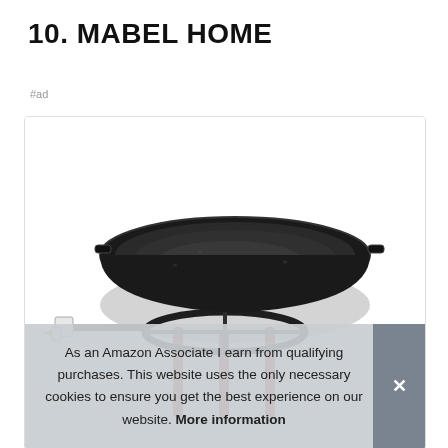10. MABEL HOME
#ad
[Figure (photo): A paella pan (large round dark enameled pan) sitting on a gas burner stand with red metal legs. A gas connector hose is visible on the left side.]
As an Amazon Associate I earn from qualifying purchases. This website uses the only necessary cookies to ensure you get the best experience on our website. More information